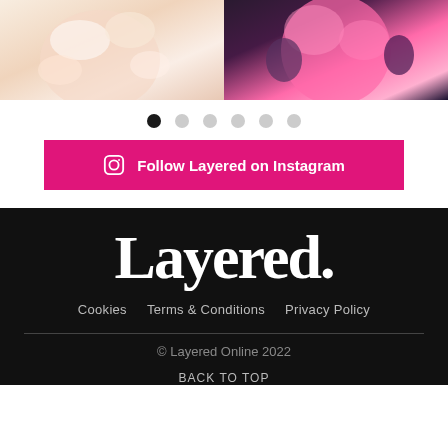[Figure (photo): Two Instagram-style photos side by side: left shows a woman with light pink/blonde wavy hair and flowers, right shows a woman with bright pink/coral colored hair against a purple floral background]
[Figure (infographic): Carousel navigation dots: first dot is dark/active, five remaining dots are light grey/inactive]
Follow Layered on Instagram
Layered.
Cookies   Terms & Conditions   Privacy Policy
© Layered Online 2022
BACK TO TOP